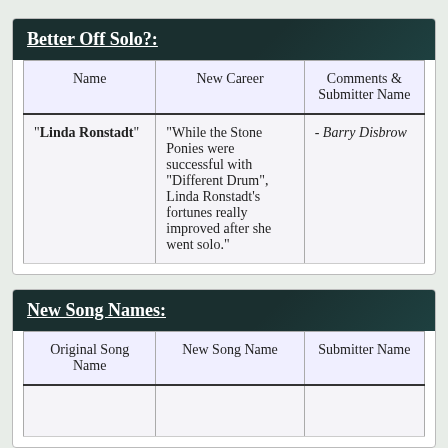Better Off Solo?:
| Name | New Career | Comments & Submitter Name |
| --- | --- | --- |
| "Linda Ronstadt" | "While the Stone Ponies were successful with "Different Drum", Linda Ronstadt's fortunes really improved after she went solo." | - Barry Disbrow |
New Song Names:
| Original Song Name | New Song Name | Submitter Name |
| --- | --- | --- |